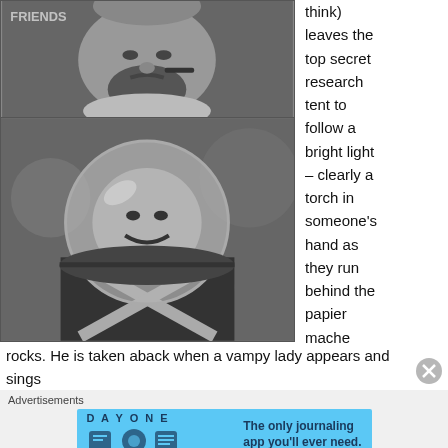[Figure (photo): Black and white photo of a person in costume with a beard and ruffled collar, smoking a pipe, with 'FRIENDS' watermark visible in top left corner]
[Figure (photo): Black and white photo of a person wearing a space helmet or bubble helmet, smiling, with an X-shaped harness on their costume]
think) leaves the top secret research tent to follow a bright light – clearly a torch in someone's hand as they run behind the papier mache rocks. He is taken aback when a vampy lady appears and sings
Advertisements
[Figure (screenshot): Day One journaling app advertisement with blue background showing app icons and text: 'The only journaling app you'll ever need.']